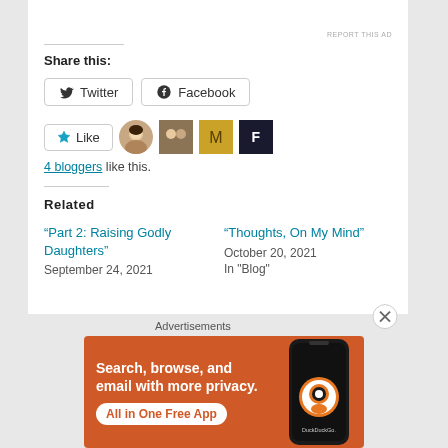REPORT THIS AD
Share this:
Twitter  Facebook
Like  [avatars]  4 bloggers like this.
Related
“Part 2: Raising Godly Daughters”
September 24, 2021
“Thoughts, On My Mind”
October 20, 2021
In "Blog"
Advertisements
[Figure (screenshot): DuckDuckGo advertisement banner: orange background with text 'Search, browse, and email with more privacy. All in One Free App' and a phone image showing the DuckDuckGo logo]